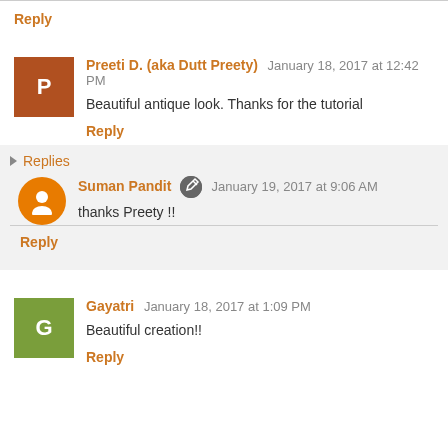Reply
Preeti D. (aka Dutt Preety) January 18, 2017 at 12:42 PM
Beautiful antique look. Thanks for the tutorial
Reply
Replies
Suman Pandit January 19, 2017 at 9:06 AM
thanks Preety !!
Reply
Gayatri January 18, 2017 at 1:09 PM
Beautiful creation!!
Reply